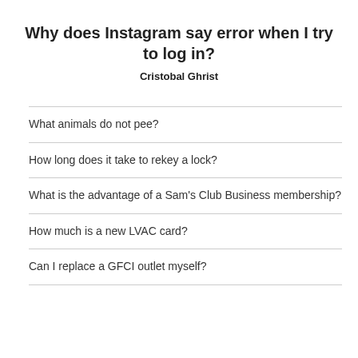Why does Instagram say error when I try to log in?
Cristobal Ghrist
What animals do not pee?
How long does it take to rekey a lock?
What is the advantage of a Sam's Club Business membership?
How much is a new LVAC card?
Can I replace a GFCI outlet myself?